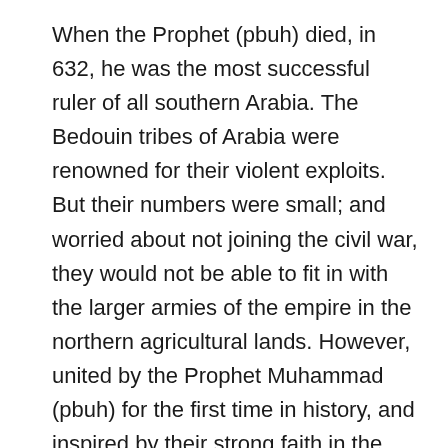When the Prophet (pbuh) died, in 632, he was the most successful ruler of all southern Arabia. The Bedouin tribes of Arabia were renowned for their violent exploits. But their numbers were small; and worried about not joining the civil war, they would not be able to fit in with the larger armies of the empire in the northern agricultural lands. However, united by the Prophet Muhammad (pbuh) for the first time in history, and inspired by their strong faith in the one true God, these small Arab armies are now embarking on a series of victories in human history.
Statistically, the Arabs could not stand up to their opponents. In the military, the inspired Arabs conquered much of Mesopotamia, Syria, and Palestine. By 642, Egypt had been annexed by the